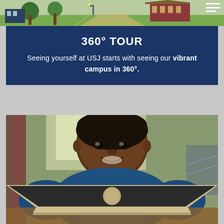[Figure (photo): Aerial/ground-level view of USJ campus with green lawns, a building, and trees]
360° TOUR
Seeing yourself at USJ starts with seeing our vibrant campus in 360°.
[Figure (photo): Young male student smiling, wearing a blue t-shirt, leaning over an open Apple MacBook laptop in what appears to be a library or study area]